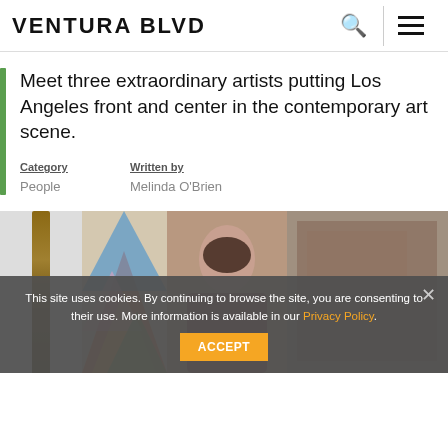VENTURA BLVD
Meet three extraordinary artists putting Los Angeles front and center in the contemporary art scene.
Category: People | Written by: Melinda O'Brien
[Figure (photo): A strip of photos showing artwork and a person, partially visible at the bottom of the page.]
This site uses cookies. By continuing to browse the site, you are consenting to their use. More information is available in our Privacy Policy. ACCEPT